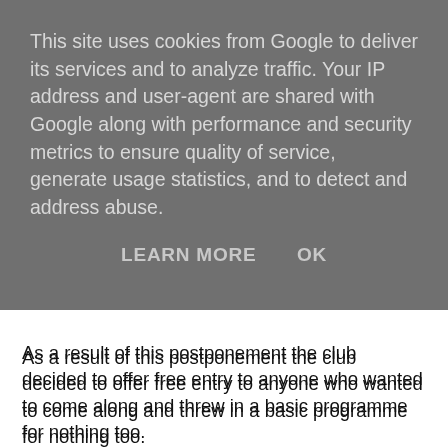This site uses cookies from Google to deliver its services and to analyze traffic. Your IP address and user-agent are shared with Google along with performance and security metrics to ensure quality of service, generate usage statistics, and to detect and address abuse.
LEARN MORE   OK
As a result of this postponement the club decided to offer free entry to anyone who wanted to come along and threw in a basic programme for nothing too.
For those of you that have never heard of Whyteleafe, it's located right down at the southern fringe of the TLFG catchment area not far from Croydon. It's so far south it's almost in Sussex.
Relatively speaking you're in the country out here. On getting off the train I was instantly struck by the freshness of the air. It was a shame it was dark because the area appeared to be surrounded by wooded hills which must look pretty good in daylight.